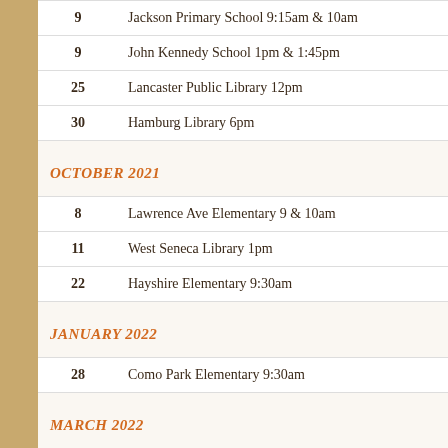| Day | Event |
| --- | --- |
| 9 | Jackson Primary School 9:15am & 10am |
| 9 | John Kennedy School 1pm & 1:45pm |
| 25 | Lancaster Public Library 12pm |
| 30 | Hamburg Library 6pm |
OCTOBER 2021
| Day | Event |
| --- | --- |
| 8 | Lawrence Ave Elementary 9 & 10am |
| 11 | West Seneca Library 1pm |
| 22 | Hayshire Elementary 9:30am |
JANUARY 2022
| Day | Event |
| --- | --- |
| 28 | Como Park Elementary 9:30am |
MARCH 2022
| Day | Event |
| --- | --- |
| 2 | Lynch Bustin School 9 & 10am |